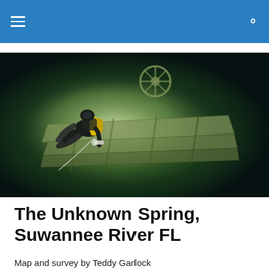[Figure (photo): Underwater cave photo showing a scuba diver with yellow tanks and a light, exploring a large underwater cavern with rock formations and what appears to be a ship's wheel in the background. The water is clear and greenish-blue.]
The Unknown Spring, Suwannee River FL
Map and survey by Teddy Garlock
To really emphasize how much I needed a good cave dive,